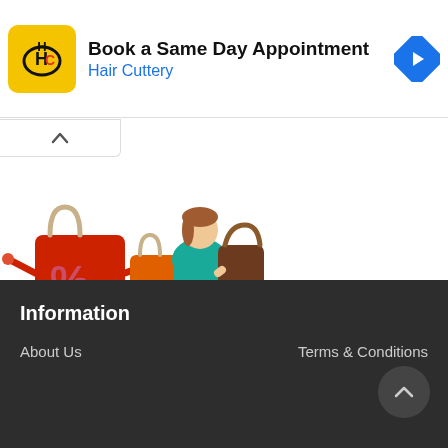[Figure (screenshot): Advertisement banner for Hair Cuttery showing logo and 'Book a Same Day Appointment' text with navigation arrow icon]
[Figure (illustration): Shopping illustration with cartoon shopping bags with percentage signs and a stylish woman in teal dress and brown boots carrying a brown handbag]
Information
About Us
Terms & Conditions